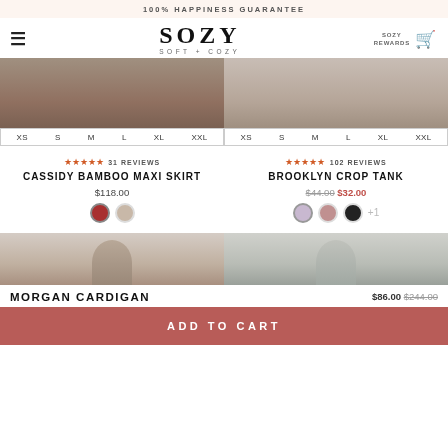100% HAPPINESS GUARANTEE
[Figure (logo): SOZY SOFT + COZY brand logo with hamburger menu, rewards and cart icons]
[Figure (photo): Cassidy Bamboo Maxi Skirt product photo with size selector strip showing XS S M L XL XXL]
[Figure (photo): Brooklyn Crop Tank product photo with size selector strip showing XS S M L XL XXL]
★★★★★ 31 REVIEWS
★★★★★ 102 REVIEWS
CASSIDY BAMBOO MAXI SKIRT
BROOKLYN CROP TANK
$118.00
$44.00 $32.00
[Figure (other): Two color swatches: red-brown (selected) and beige]
[Figure (other): Three color swatches: lavender (selected), mauve, black, +1]
[Figure (photo): Morgan Cardigan product photo - left panel]
[Figure (photo): Morgan Cardigan product photo - right panel]
MORGAN CARDIGAN
$86.00 $244.00
ADD TO CART